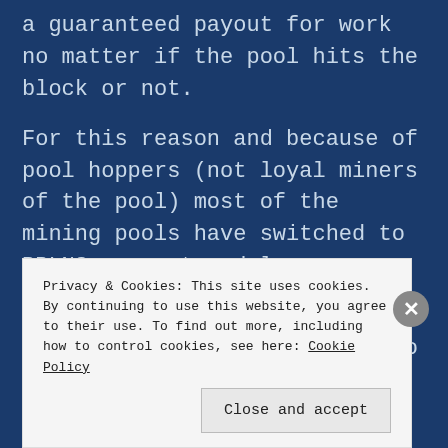a guaranteed payout for work no matter if the pool hits the block or not.
For this reason and because of pool hoppers (not loyal miners of the pool) most of the mining pools have switched to PPLNS payment model.
Pay Per Last N Shares: If you are the one that is looking to accumulate and
Privacy & Cookies: This site uses cookies. By continuing to use this website, you agree to their use. To find out more, including how to control cookies, see here: Cookie Policy
Close and accept